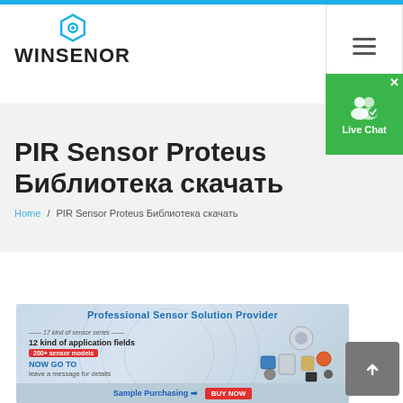WINSENOR
PIR Sensor Proteus Библиотека скачать
Home / PIR Sensor Proteus Библиотека скачать
[Figure (infographic): Professional Sensor Solution Provider advertisement banner showing 17 kind of sensor series, 12 kind of application fields, 200+ sensor models, NOW GO TO leave a message for details, with sensor images and Sample Purchasing BUY NOW button]